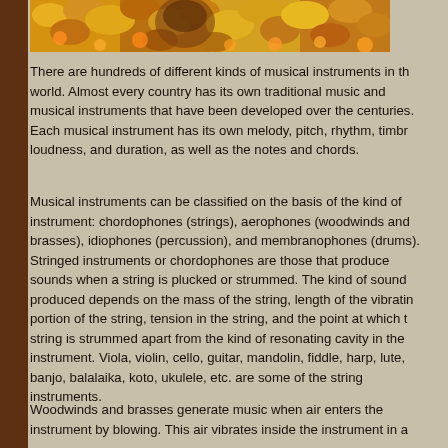[Figure (photo): A photograph showing autumn leaves and flowers in warm orange, yellow, and brown tones, with what appears to be a figure or face partially visible among the foliage.]
There are hundreds of different kinds of musical instruments in the world. Almost every country has its own traditional music and musical instruments that have been developed over the centuries. Each musical instrument has its own melody, pitch, rhythm, timbre, loudness, and duration, as well as the notes and chords.
Musical instruments can be classified on the basis of the kind of instrument: chordophones (strings), aerophones (woodwinds and brasses), idiophones (percussion), and membranophones (drums). Stringed instruments or chordophones are those that produce sounds when a string is plucked or strummed. The kind of sound produced depends on the mass of the string, length of the vibrating portion of the string, tension in the string, and the point at which the string is strummed apart from the kind of resonating cavity in the instrument. Viola, violin, cello, guitar, mandolin, fiddle, harp, lute, banjo, balalaika, koto, ukulele, etc. are some of the string instruments.
Woodwinds and brasses generate music when air enters the instrument by blowing. This air vibrates inside the instrument in a